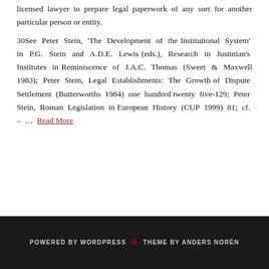licensed lawyer to prepare legal paperwork of any sort for another particular person or entity.
30See Peter Stein, 'The Development of the Institutional System' in P.G. Stein and A.D.E. Lewis (eds.), Research in Justinian's Institutes in Reminiscence of J.A.C. Thomas (Sweet & Maxwell 1983); Peter Stein, Legal Establishments: The Growth of Dispute Settlement (Butterworths 1984) one hundred twenty five-129; Peter Stein, Roman Legislation in European History (CUP 1999) 81; cf. – … Read More
POWERED BY WORDPRESS & THEME BY ANDERS NORÉN